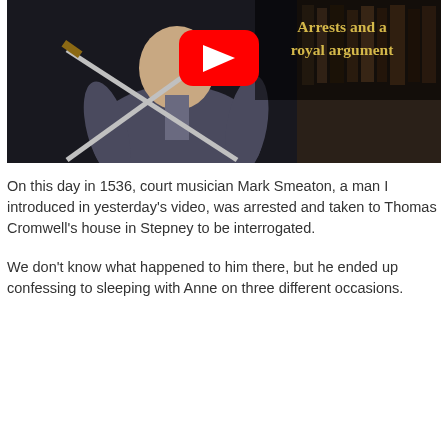[Figure (screenshot): YouTube video thumbnail showing a person in a grey hoodie holding crossed swords, with bookshelves in the background. The YouTube play button logo is centered. Text on the right reads 'Arrests and a royal argument' in gold/yellow text on dark background.]
On this day in 1536, court musician Mark Smeaton, a man I introduced in yesterday's video, was arrested and taken to Thomas Cromwell's house in Stepney to be interrogated.
We don't know what happened to him there, but he ended up confessing to sleeping with Anne on three different occasions.